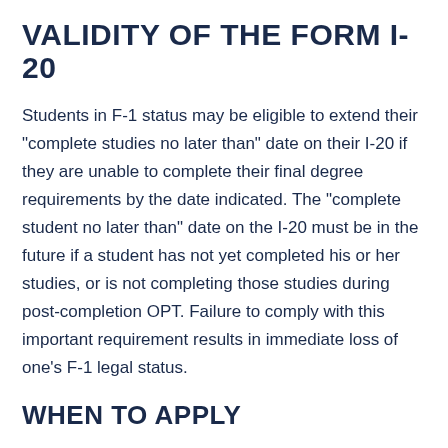VALIDITY OF THE FORM I-20
Students in F-1 status may be eligible to extend their "complete studies no later than" date on their I-20 if they are unable to complete their final degree requirements by the date indicated. The "complete student no later than" date on the I-20 must be in the future if a student has not yet completed his or her studies, or is not completing those studies during post-completion OPT.  Failure to comply with this important requirement results in immediate loss of one's F-1 legal status.
WHEN TO APPLY
An application for program extension should be made